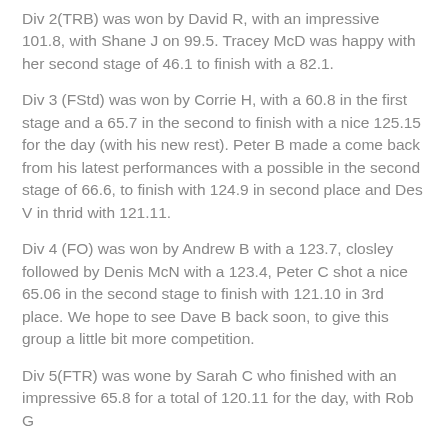Div 2(TRB) was won by David R, with an impressive 101.8, with Shane J on 99.5. Tracey McD was happy with her second stage of 46.1 to finish with a 82.1.
Div 3 (FStd) was won by Corrie H, with a 60.8 in the first stage and a 65.7 in the second to finish with a nice 125.15 for the day (with his new rest). Peter B made a come back from his latest performances with a possible in the second stage of 66.6, to finish with 124.9 in second place and Des V in thrid with 121.11.
Div 4 (FO) was won by Andrew B with a 123.7, closley followed by Denis McN with a 123.4, Peter C shot a nice 65.06 in the second stage to finish with 121.10 in 3rd place. We hope to see Dave B back soon, to give this group a little bit more competition.
Div 5(FTR) was wone by Sarah C who finished with an impressive 65.8 for a total of 120.11 for the day, with Rob G